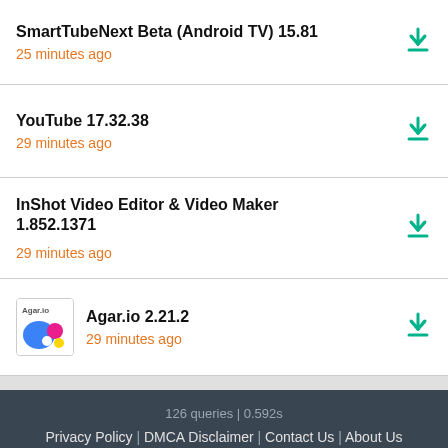SmartTubeNext Beta (Android TV) 15.81 — 25 minutes ago
YouTube 17.32.38 — 29 minutes ago
InShot Video Editor & Video Maker 1.852.1371 — 29 minutes ago
Agar.io 2.21.2 — 29 minutes ago
126 queries | 0.592s
Privacy Policy | DMCA Disclaimer | Contact Us | About Us
Android is a trademark of Google LLC
© APKLinker.com, 2017-22